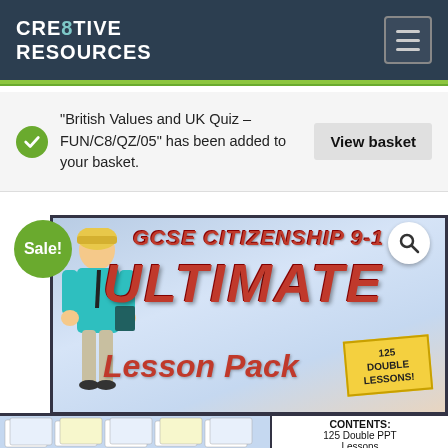CRE8TIVE RESOURCES
"British Values and UK Quiz – FUN/C8/QZ/05" has been added to your basket.
View basket
[Figure (screenshot): GCSE Citizenship 9-1 Ultimate Lesson Pack product image with Sale badge, character illustration, and yellow badge reading 125 Double Lessons]
CONTENTS:
125 Double PPT Lessons
Information Handouts